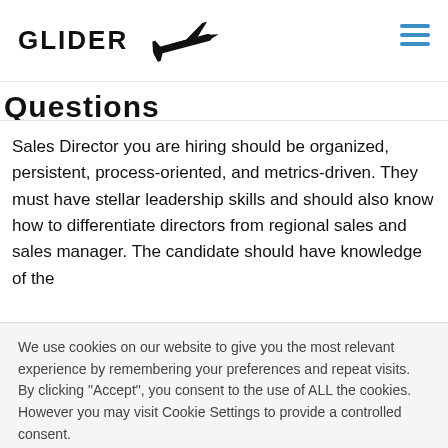GLIDER
Questions
Sales Director you are hiring should be organized, persistent, process-oriented, and metrics-driven. They must have stellar leadership skills and should also know how to differentiate directors from regional sales and sales manager. The candidate should have knowledge of the
We use cookies on our website to give you the most relevant experience by remembering your preferences and repeat visits. By clicking "Accept", you consent to the use of ALL the cookies. However you may visit Cookie Settings to provide a controlled consent.
Cookie settings | ACCEPT